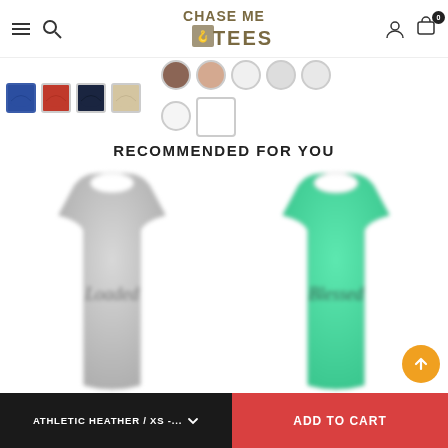[Figure (screenshot): E-commerce website header for Chase Me Tees with hamburger menu, search icon, logo, account icon, and cart with 0 badge]
[Figure (screenshot): Product color swatches: 4 hat swatches on the left (blue, red, dark navy, beige) and multiple circular/square color swatches on the right (brown, peach/nude, white, light, white) plus one large white square swatch]
RECOMMENDED FOR YOU
[Figure (photo): Gray athletic heather tank top with cursive text, blurred/out of focus]
[Figure (photo): Mint green tank top with cursive text, blurred/out of focus]
ATHLETIC HEATHER / XS -...
ADD TO CART